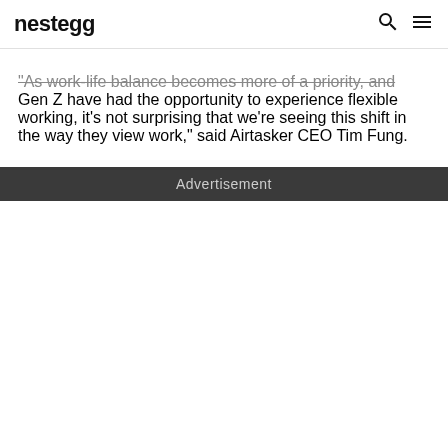nestegg
"As work-life balance becomes more of a priority, and Gen Z have had the opportunity to experience flexible working, it’s not surprising that we’re seeing this shift in the way they view work,” said Airtasker CEO Tim Fung.
Advertisement